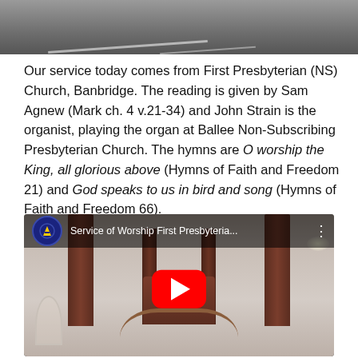[Figure (photo): Top portion of a photo showing a road or parking area surface, dark grey, with white painted lines visible.]
Our service today comes from First Presbyterian (NS) Church, Banbridge. The reading is given by Sam Agnew (Mark ch. 4 v.21-34) and John Strain is the organist, playing the organ at Ballee Non-Subscribing Presbyterian Church. The hymns are O worship the King, all glorious above (Hymns of Faith and Freedom 21) and God speaks to us in bird and song (Hymns of Faith and Freedom 66).
[Figure (screenshot): YouTube video thumbnail showing the interior of a church with wooden pillars, a pulpit, and staircase. The video title reads 'Service of Worship First Presbyteria...' with a YouTube play button overlay.]